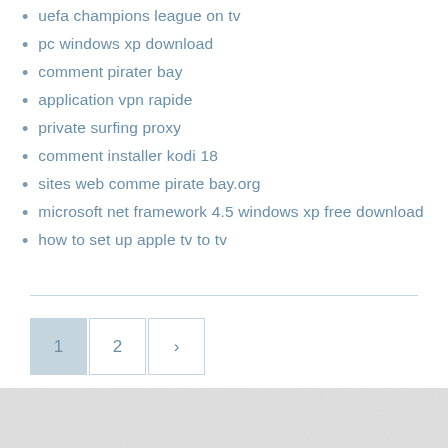uefa champions league on tv
pc windows xp download
comment pirater bay
application vpn rapide
private surfing proxy
comment installer kodi 18
sites web comme pirate bay.org
microsoft net framework 4.5 windows xp free download
how to set up apple tv to tv
[Figure (other): Pagination navigation with page 1 (active/shaded), page 2, and next arrow button]
[Figure (photo): Partial image at bottom of page, appears to be a light grey textured background]